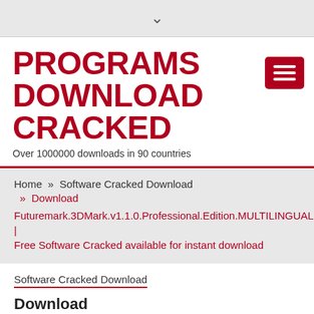▾
PROGRAMS DOWNLOAD CRACKED
Over 1000000 downloads in 90 countries
Home » Software Cracked Download » Download
Futuremark.3DMark.v1.1.0.Professional.Edition.MULTILINGUAL | Free Software Cracked available for instant download
Software Cracked Download
Download